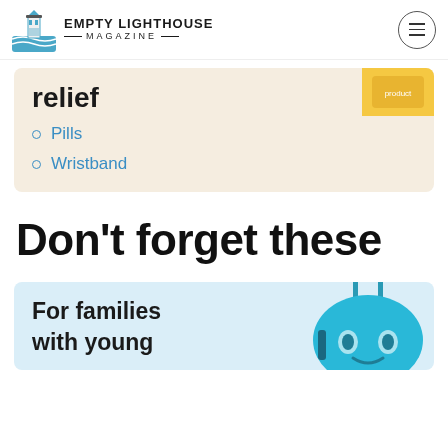EMPTY LIGHTHOUSE MAGAZINE
relief
Pills
Wristband
Don’t forget these
For families with young